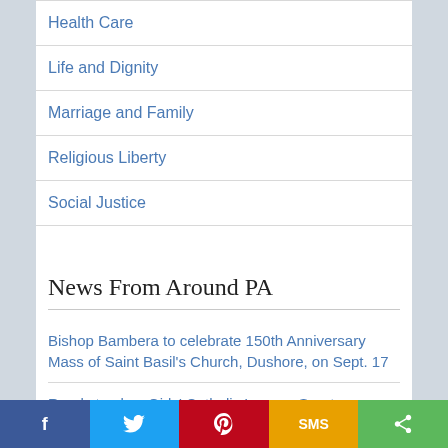Health Care
Life and Dignity
Marriage and Family
Religious Liberty
Social Justice
News From Around PA
Bishop Bambera to celebrate 150th Anniversary Mass of Saint Basil's Church, Dushore, on Sept. 17
Ready to play: Girls' Catholic League Sports